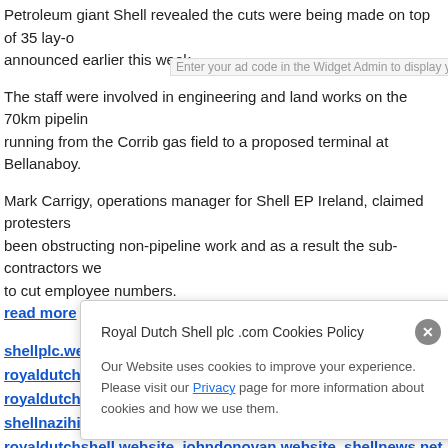Petroleum giant Shell revealed the cuts were being made on top of 35 lay-offs announced earlier this week.
The staff were involved in engineering and land works on the 70km pipeline running from the Corrib gas field to a proposed terminal at Bellanaboy.
Mark Carrigy, operations manager for Shell EP Ireland, claimed protesters had been obstructing non-pipeline work and as a result the sub-contractors were forced to cut employee numbers.
read more
shellplc.website and its sister non-profit websites royaldutchshellplc.com, royaldutchshellgroup.com, shellenergy.website, shellnazihistory.com, royaldutchshell.website, johndonovan.website, shellnews.net and shell2004.com are owned by John Donovan. There is also a Wikipedia f...
Irish Examiner: Shell axes jobs ... in ... result pipeline
Jul ...
Irish Examiner: Shell axes jobs ... of pi...
[Figure (screenshot): Cookie consent popup overlay for Royal Dutch Shell plc .com Cookies Policy]